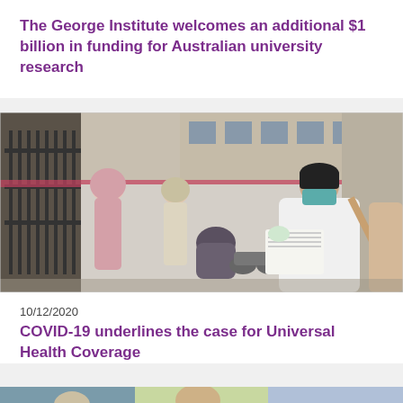The George Institute welcomes an additional $1 billion in funding for Australian university research
[Figure (photo): Outdoor urban scene in what appears to be South or Southeast Asia. A healthcare worker wearing a white coat, face mask, and gloves is standing on the right side writing on papers/clipboard. Several women in traditional dress are visible in the background near a building with a metal gate.]
10/12/2020
COVID-19 underlines the case for Universal Health Coverage